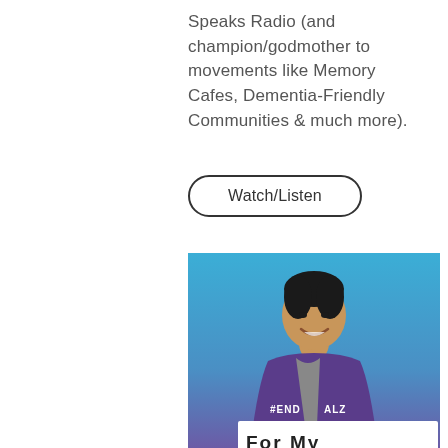Speaks Radio (and champion/godmother to movements like Memory Cafes, Dementia-Friendly Communities & much more).
Watch/Listen
[Figure (photo): A smiling man wearing a purple #ENDALZ hoodie holding a sign that reads 'For My' against a blue-to-purple gradient background.]